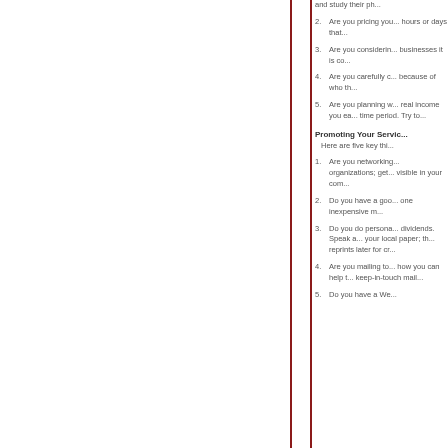and study their ph...
2. Are you pricing you... hours or days that...
3. Are you considerin... businesses it is co...
4. Are you carefully c... because of who th...
5. Are you planning w... real income you ea... time period. Try to...
Promoting Your Servic...
Here are five key thi...
1. Are you networking... organizations; get... visible in your com...
2. Do you have a goo... one inexpensive m...
3. Do you do persona... dividends. Speak a... your local paper; th... reprints later for cr...
4. Are you mailing to... how you can help t... keep-in-touch mail...
5. Do you have a We...